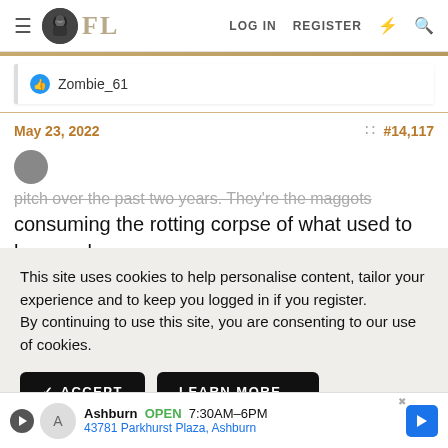FL | LOG IN  REGISTER
👍 Zombie_61
May 23, 2022   #14,117
This site uses cookies to help personalise content, tailor your experience and to keep you logged in if you register.
By continuing to use this site, you are consenting to our use of cookies.
✓ ACCEPT   LEARN MORE...
pitch over the past two years. They're the maggots consuming the rotting corpse of what used to be a real commu
Ashburn  OPEN  7:30AM–6PM
43781 Parkhurst Plaza, Ashburn